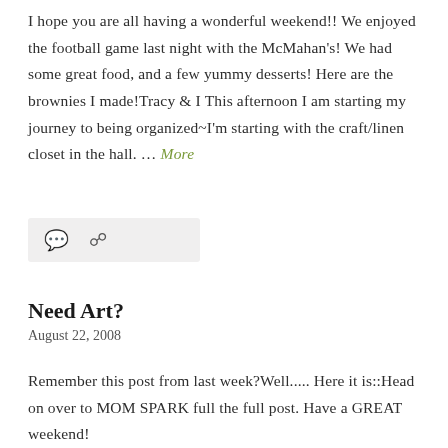I hope you are all having a wonderful weekend!! We enjoyed the football game last night with the McMahan's! We had some great food, and a few yummy desserts! Here are the brownies I made!Tracy & I This afternoon I am starting my journey to being organized~I'm starting with the craft/linen closet in the hall. … More
[Figure (other): A light gray bar with a speech bubble comment icon and a link/share icon]
Need Art?
August 22, 2008
Remember this post from last week?Well..... Here it is::Head on over to MOM SPARK full the full post. Have a GREAT weekend!